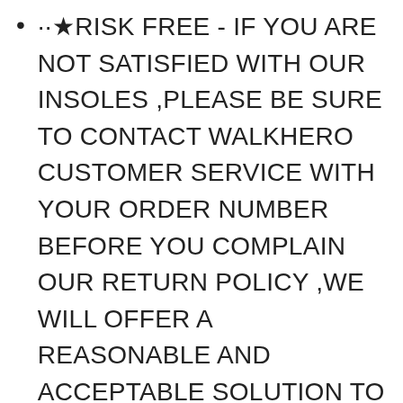··★RISK FREE - IF YOU ARE NOT SATISFIED WITH OUR INSOLES ,PLEASE BE SURE TO CONTACT WALKHERO CUSTOMER SERVICE WITH YOUR ORDER NUMBER BEFORE YOU COMPLAIN OUR RETURN POLICY ,WE WILL OFFER A REASONABLE AND ACCEPTABLE SOLUTION TO MAKE IT UP FOR YOU FRIENDLY REMINDER: WalkHero insoles are packed in resealable ziplock bag, Free to open and seal, please kindly keep the package intact before